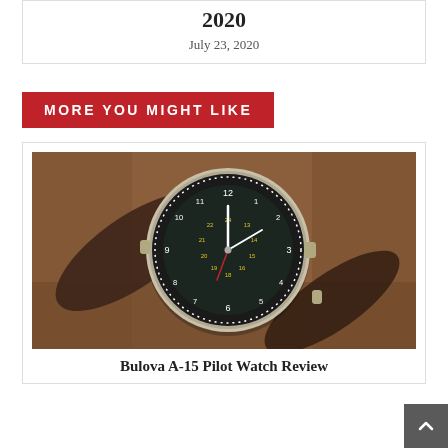2020
July 23, 2020
MORE YOU MIGHT LIKE
[Figure (photo): Bulova A-15 pilot watch with black dial showing 12-hour and 24-hour markings, silver case, dark brown leather strap, resting on brown suede fabric]
Bulova A-15 Pilot Watch Review